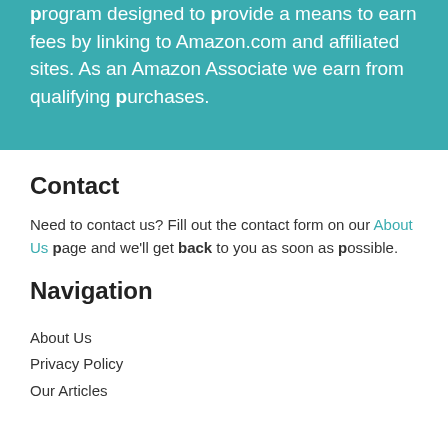program designed to provide a means to earn fees by linking to Amazon.com and affiliated sites. As an Amazon Associate we earn from qualifying purchases.
Contact
Need to contact us? Fill out the contact form on our About Us page and we'll get back to you as soon as possible.
Navigation
About Us
Privacy Policy
Our Articles